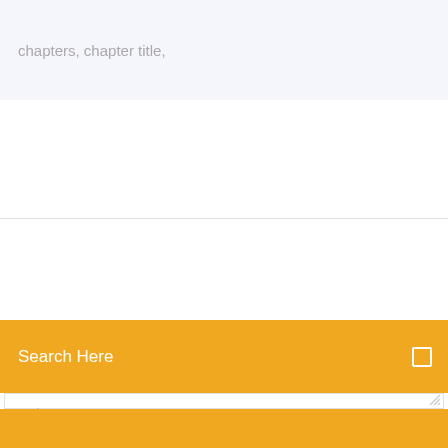chapters, chapter title,
Search Here
Write Comment